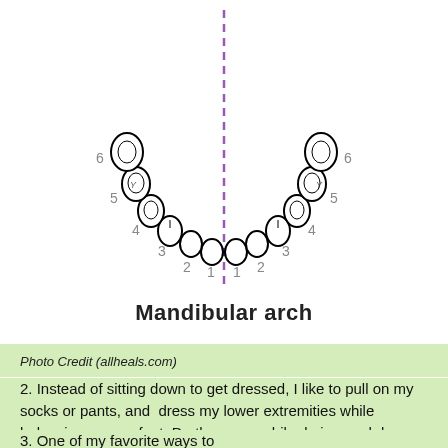[Figure (illustration): Diagram of the mandibular arch showing numbered teeth positions 1-6 on both left and right sides, with a dashed purple vertical line through the center indicating the midline. Teeth are drawn in black outline.]
Mandibular arch
Photo Credit (allheals.com)
2. Instead of sitting down to get dressed, I like to pull on my socks or pants, and  dress my lower extremities while balancing on one foot. Do the same while drying each leg after a shower or while applying lotion.
3. One of my favorite ways to